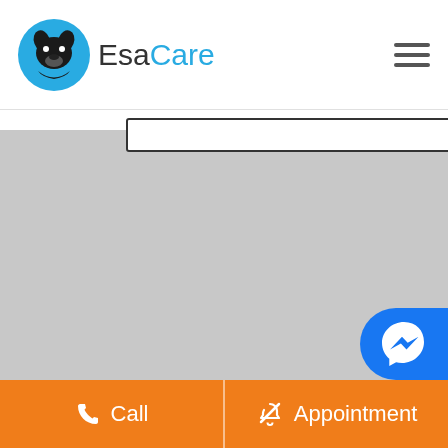[Figure (logo): EsaCare logo with pet silhouette icon in blue circle and text 'EsaCare']
[Figure (screenshot): Gray placeholder content area with a text input box outline at the top]
Subscribe
[Figure (logo): Facebook Messenger blue bubble icon in bottom right corner]
Call
Appointment